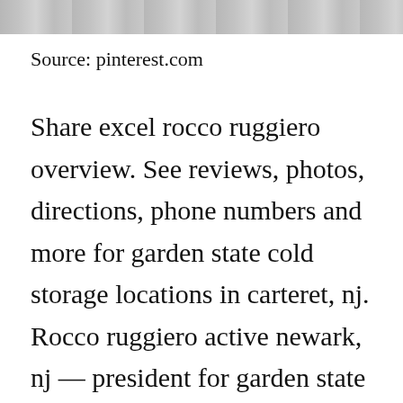[Figure (photo): Partial image strip visible at top of page, appears to be a cropped photo (likely a building or storefront scene), shown as a gray/dark horizontal band.]
Source: pinterest.com
Share excel rocco ruggiero overview. See reviews, photos, directions, phone numbers and more for garden state cold storage locations in carteret, nj. Rocco ruggiero active newark, nj — president for garden state cold storage inc. Apply to checker, forklift operator, receiving clerk and more! The company has reported itself as a white male owned busine [CLOSE X] d employed at least